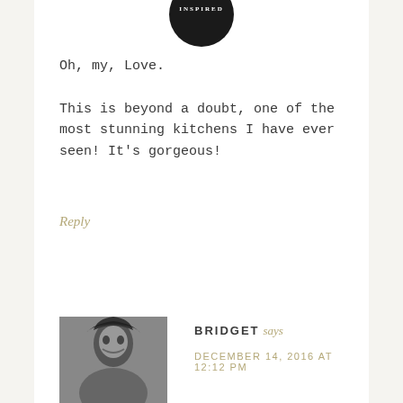[Figure (logo): Circular dark logo with 'INSPIRED' text in white]
Oh, my, Love.
This is beyond a doubt, one of the most stunning kitchens I have ever seen! It's gorgeous!
Reply
[Figure (photo): Black and white portrait photo of a woman with dark hair]
BRIDGET says
DECEMBER 14, 2016 AT 12:12 PM